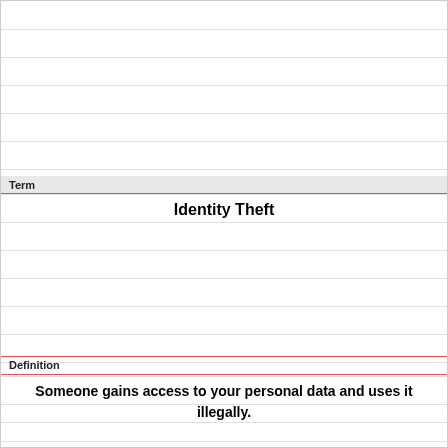Term
Identity Theft
Definition
Someone gains access to your personal data and uses it illegally.